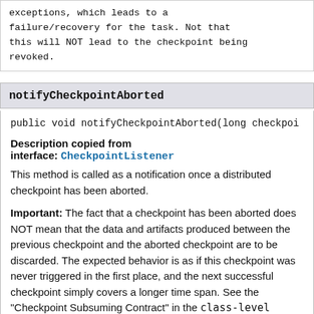exceptions, which leads to a failure/recovery for the task. Not that this will NOT lead to the checkpoint being revoked.
notifyCheckpointAborted
public void notifyCheckpointAborted(long checkpoi
Description copied from interface: CheckpointListener
This method is called as a notification once a distributed checkpoint has been aborted.
Important: The fact that a checkpoint has been aborted does NOT mean that the data and artifacts produced between the previous checkpoint and the aborted checkpoint are to be discarded. The expected behavior is as if this checkpoint was never triggered in the first place, and the next successful checkpoint simply covers a longer time span. See the "Checkpoint Subsuming Contract" in the class-level